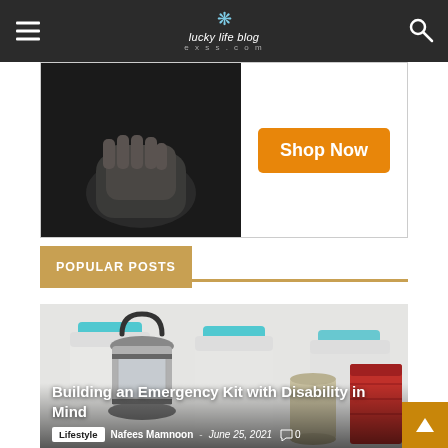lucky life blog exess.com
[Figure (photo): Advertisement banner with a person clasping hands on the left and a 'Shop Now' orange button on the right]
POPULAR POSTS
[Figure (photo): Emergency kit items including a camping lantern and large water jugs with blue caps]
Building an Emergency Kit with Disability in Mind
Lifestyle · Nafees Mamnoon - June 25, 2021 · 0 comments